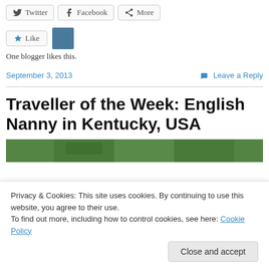Twitter
Facebook
More
One blogger likes this.
September 3, 2013
Leave a Reply
Traveller of the Week: English Nanny in Kentucky, USA
[Figure (photo): Green foliage photograph strip]
Privacy & Cookies: This site uses cookies. By continuing to use this website, you agree to their use.
To find out more, including how to control cookies, see here: Cookie Policy
Close and accept